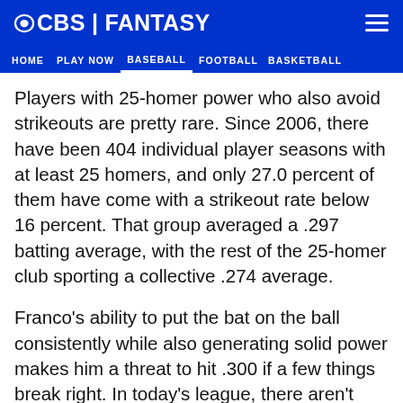CBS | FANTASY
HOME   PLAY NOW   BASEBALL   FOOTBALL   BASKETBALL
Players with 25-homer power who also avoid strikeouts are pretty rare. Since 2006, there have been 404 individual player seasons with at least 25 homers, and only 27.0 percent of them have come with a strikeout rate below 16 percent. That group averaged a .297 batting average, with the rest of the 25-homer club sporting a collective .274 average.
Franco's ability to put the bat on the ball consistently while also generating solid power makes him a threat to hit .300 if a few things break right. In today's league, there aren't many